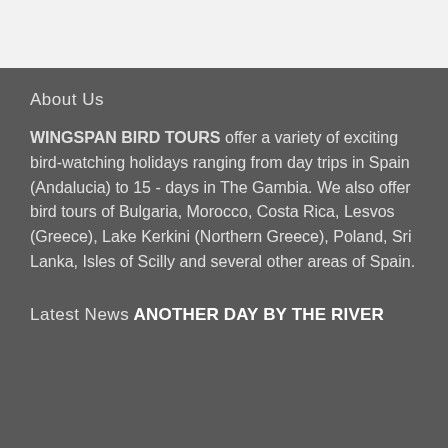About Us
WINGSPAN BIRD TOURS offer a variety of exciting bird-watching holidays ranging from day trips in Spain (Andalucia) to 15 - days in The Gambia. We also offer bird tours of Bulgaria, Morocco, Costa Rica, Lesvos (Greece), Lake Kerkini (Northern Greece), Poland, Sri Lanka, Isles of Scilly and several other areas of Spain.
Latest News
ANOTHER DAY BY THE RIVER